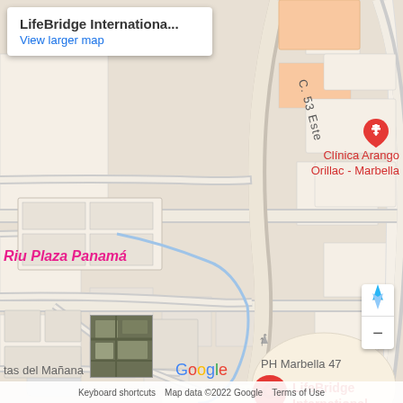[Figure (map): Google Maps screenshot showing the area around LifeBridge International Church in Marbella, Panama City. The map shows C. 53 Este street, nearby landmarks including Riu Plaza Panamá, Clínica Arango Orillac - Marbella, Hostal Loco Coco Loco, Sercotel Panama Princess, and other local businesses. A red map pin marks LifeBridge International Church. Zoom controls, Google logo, and map attribution are visible.]
LifeBridge Internationa...
View larger map
Keyboard shortcuts   Map data ©2022 Google   Terms of Use